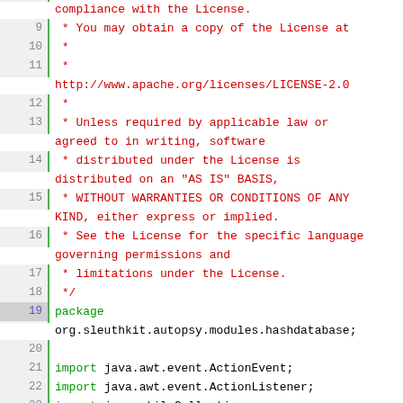[Figure (screenshot): Java source code viewer showing lines 9-35 of a file with line numbers on the left separated by a green border. The code contains Apache License comment block (lines 9-18) in red, followed by a package declaration (line 19) and import statements (lines 21-35) with keywords in green and some package names in dark red or blue.]